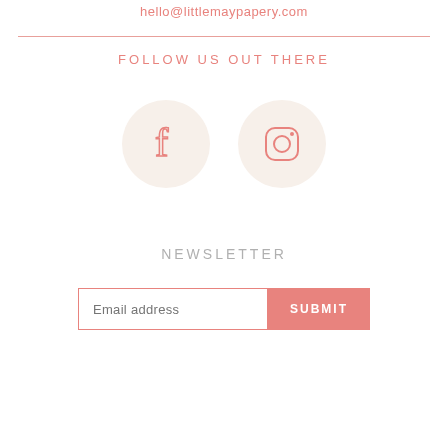hello@littlemaypapery.com
[Figure (illustration): Facebook icon in a circle and Instagram icon in a circle, both with pinkish-salmon stroke on a warm beige background]
FOLLOW US OUT THERE
NEWSLETTER
Email address  SUBMIT